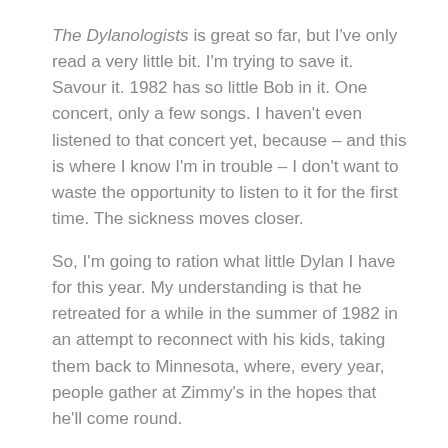The Dylanologists is great so far, but I've only read a very little bit. I'm trying to save it. Savour it. 1982 has so little Bob in it. One concert, only a few songs. I haven't even listened to that concert yet, because – and this is where I know I'm in trouble – I don't want to waste the opportunity to listen to it for the first time. The sickness moves closer.
So, I'm going to ration what little Dylan I have for this year. My understanding is that he retreated for a while in the summer of 1982 in an attempt to reconnect with his kids, taking them back to Minnesota, where, every year, people gather at Zimmy's in the hopes that he'll come round.